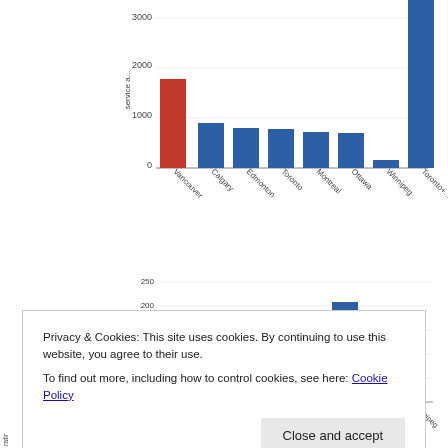[Figure (bar-chart): Transit service (top chart, partial)]
[Figure (bar-chart): Trips per capita]
Privacy & Cookies: This site uses cookies. By continuing to use this website, you agree to their use.
To find out more, including how to control cookies, see here: Cookie Policy
[Figure (bar-chart): Partial bar chart visible at bottom of page, y-axis label partially visible as 'ratir', value -1.5 partially visible]